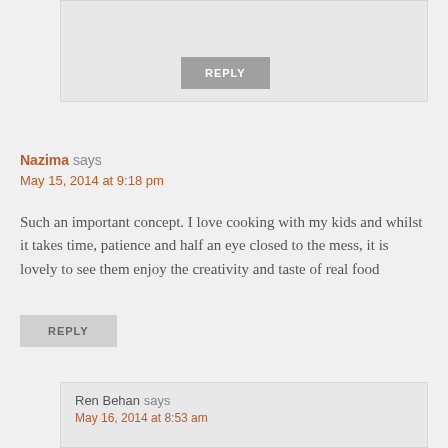REPLY
Nazima says
May 15, 2014 at 9:18 pm
Such an important concept. I love cooking with my kids and whilst it takes time, patience and half an eye closed to the mess, it is lovely to see them enjoy the creativity and taste of real food
REPLY
Ren Behan says
May 16, 2014 at 8:53 am